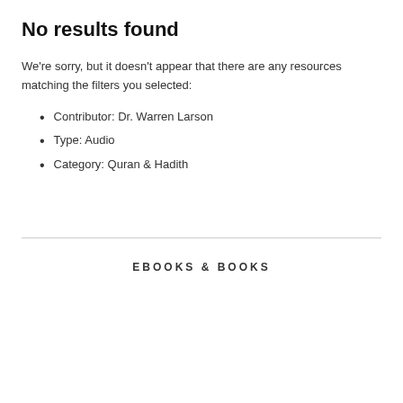No results found
We're sorry, but it doesn't appear that there are any resources matching the filters you selected:
Contributor: Dr. Warren Larson
Type: Audio
Category: Quran & Hadith
EBOOKS & BOOKS